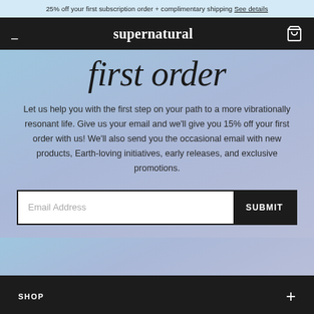25% off your first subscription order + complimentary shipping See details
supernatural
first order
Let us help you with the first step on your path to a more vibrationally resonant life. Give us your email and we'll give you 15% off your first order with us! We'll also send you the occasional email with new products, Earth-loving initiatives, early releases, and exclusive promotions.
Email Address  SUBMIT
SHOP  +